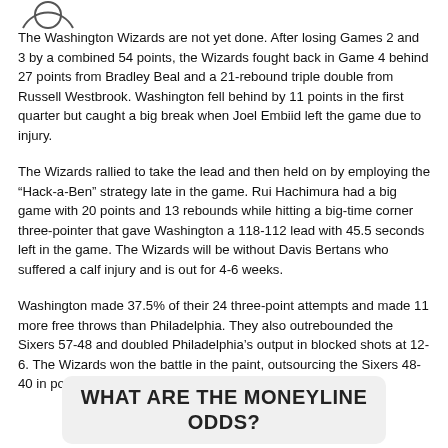[Figure (logo): Partial circular logo/emblem at top left corner]
The Washington Wizards are not yet done. After losing Games 2 and 3 by a combined 54 points, the Wizards fought back in Game 4 behind 27 points from Bradley Beal and a 21-rebound triple double from Russell Westbrook. Washington fell behind by 11 points in the first quarter but caught a big break when Joel Embiid left the game due to injury.
The Wizards rallied to take the lead and then held on by employing the “Hack-a-Ben” strategy late in the game. Rui Hachimura had a big game with 20 points and 13 rebounds while hitting a big-time corner three-pointer that gave Washington a 118-112 lead with 45.5 seconds left in the game. The Wizards will be without Davis Bertans who suffered a calf injury and is out for 4-6 weeks.
Washington made 37.5% of their 24 three-point attempts and made 11 more free throws than Philadelphia. They also outrebounded the Sixers 57-48 and doubled Philadelphia’s output in blocked shots at 12-6. The Wizards won the battle in the paint, outsourcing the Sixers 48-40 in points in the paint.
WHAT ARE THE MONEYLINE ODDS?